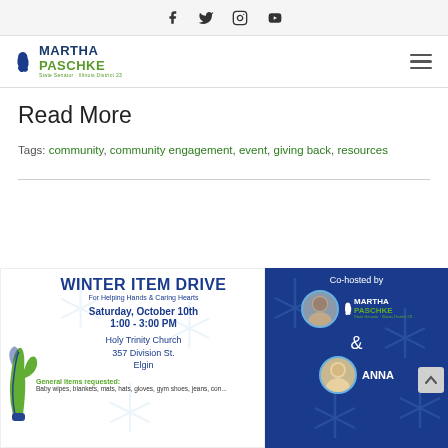Social media icons: Facebook, Twitter, Instagram, YouTube
Martha Paschke - navigation header with logo and hamburger menu
Read More
Tags: community, community engagement, event, giving back, resources
[Figure (infographic): Winter Item Drive flyer for Helping Hands & Caring Hearts. Saturday, October 10th, 1:00 - 3:00 PM, Holy Trinity Church, 357 Division St., Elgin. General items requested: Baby wipes, blankets, mats, hats, gloves, gym shoes, jeans. Co-hosted by Martha Paschke and Anna.]